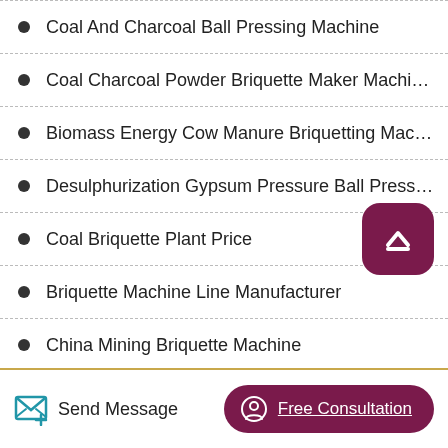Coal And Charcoal Ball Pressing Machine
Coal Charcoal Powder Briquette Maker Machine Maki...
Biomass Energy Cow Manure Briquetting Machine
Desulphurization Gypsum Pressure Ball Press Machi...
Coal Briquette Plant Price
Briquette Machine Line Manufacturer
China Mining Briquette Machine
Machinery To Make Coal Briquettes China
Send Message | Free Consultation